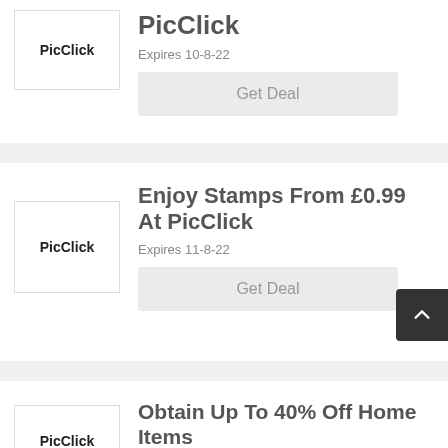[Figure (logo): PicClick logo box with bold text 'PicClick']
PicClick
Expires 10-8-22
Get Deal
[Figure (logo): PicClick logo box with bold text 'PicClick']
Enjoy Stamps From £0.99 At PicClick
Expires 11-8-22
Get Deal
[Figure (logo): PicClick logo box with bold text 'PicClick']
Obtain Up To 40% Off Home Items
Expires 30-7-22